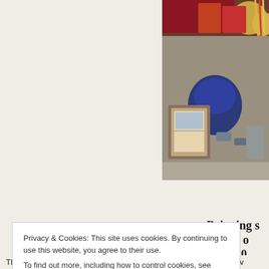[Figure (photo): A market stall with goods including framed pictures, bags, boxes, hats and other items on display, photographed from above.]
Bringing stories on… since 200…
Start reading
Privacy & Cookies: This site uses cookies. By continuing to use this website, you agree to their use.
To find out more, including how to control cookies, see here: Cookie Policy
Close and accept
The walk up to one of the Great Wall's entrance places is lined with v…